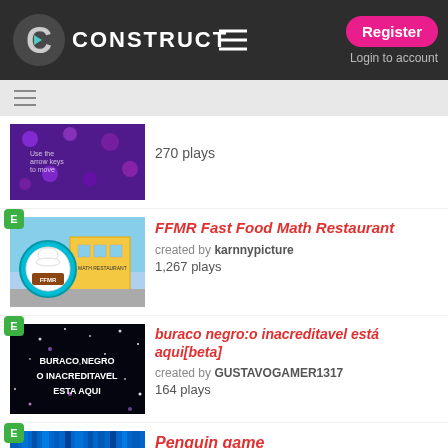CONSTRUCT — Register / Login to account
270 plays
FFMR Fast Food Math Restaurant
created by karnnypicture
1,267 plays
buraco negro:o inacreditavel está aqui[beta]
created by GUSTAVOGAMER1317
164 plays
Penguin game
created by Owl Sensei
284 plays